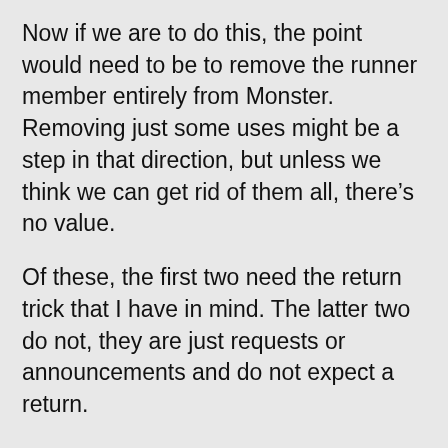Now if we are to do this, the point would need to be to remove the runner member entirely from Monster. Removing just some uses might be a step in that direction, but unless we think we can get rid of them all, there’s no value.
Of these, the first two need the return trick that I have in mind. The latter two do not, they are just requests or announcements and do not expect a return.
Now that I’m staring this code right in the eye, I’m not as interested in my clever trick as I was. But let’s do one to see what it looks like. Let’s convert this: